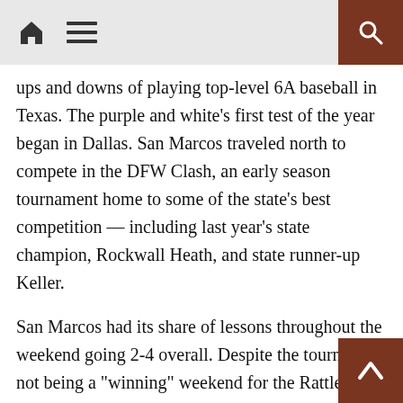[navigation bar with home, menu, search icons]
ups and downs of playing top-level 6A baseball in Texas. The purple and white’s first test of the year began in Dallas. San Marcos traveled north to compete in the DFW Clash, an early season tournament home to some of the state’s best competition — including last year’s state champion, Rockwall Heath, and state runner-up Keller.
San Marcos had its share of lessons throughout the weekend going 2-4 overall. Despite the tournament not being a “winning” weekend for the Rattlers, their two wins were impressive to say the least. The purple and white opened the tournament beating 6A powerhouse Frisco Wakeland 6-2, and then shut out defending state champion Rockwall Heath 8-0 slugging during their third game of the tournament.